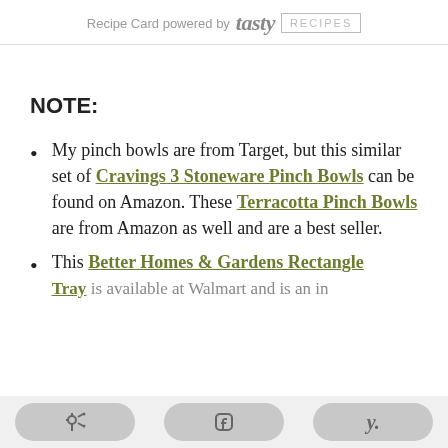Recipe Card powered by tasty RECIPES
NOTE:
My pinch bowls are from Target, but this similar set of Cravings 3 Stoneware Pinch Bowls can be found on Amazon. These Terracotta Pinch Bowls are from Amazon as well and are a best seller.
This Better Homes & Gardens Rectangle Tray is available at Walmart and is an in